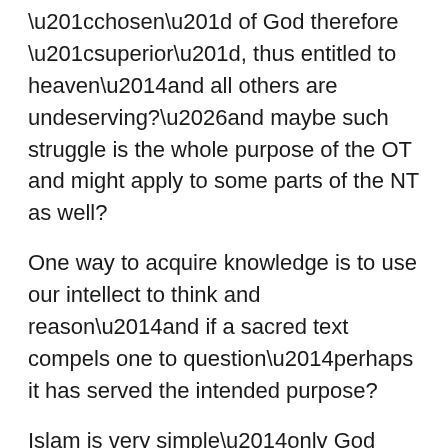“chosen” of God therefore “superior”, thus entitled to heaven—and all others are undeserving?…and maybe such struggle is the whole purpose of the OT and might apply to some parts of the NT as well?
One way to acquire knowledge is to use our intellect to think and reason—and if a sacred text compels one to question—perhaps it has served the intended purpose?
Islam is very simple—only God gets to decide who goes to hell/heaven, humans do not have the right.
The general premise is that self-assigned labels are not a guarantee — Good people may have a chance to go to heaven, unrepentant bad people